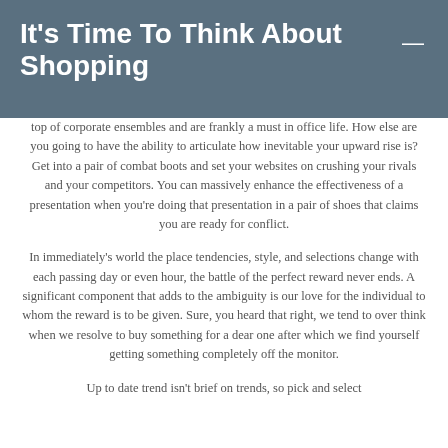It's Time To Think About Shopping
top of corporate ensembles and are frankly a must in office life. How else are you going to have the ability to articulate how inevitable your upward rise is? Get into a pair of combat boots and set your websites on crushing your rivals and your competitors. You can massively enhance the effectiveness of a presentation when you're doing that presentation in a pair of shoes that claims you are ready for conflict.
In immediately's world the place tendencies, style, and selections change with each passing day or even hour, the battle of the perfect reward never ends. A significant component that adds to the ambiguity is our love for the individual to whom the reward is to be given. Sure, you heard that right, we tend to over think when we resolve to buy something for a dear one after which we find yourself getting something completely off the monitor.
Up to date trend isn't brief on trends, so pick and select